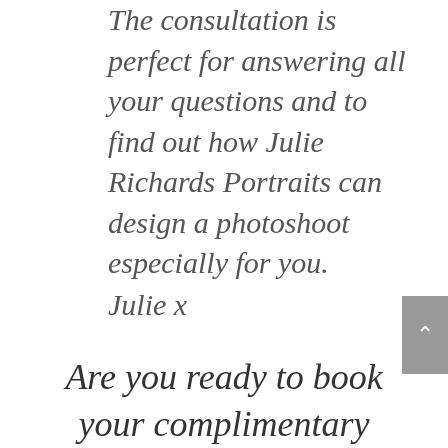The consultation is perfect for answering all your questions and to find out how Julie Richards Portraits can design a photoshoot especially for you.
Julie x
Are you ready to book your complimentary